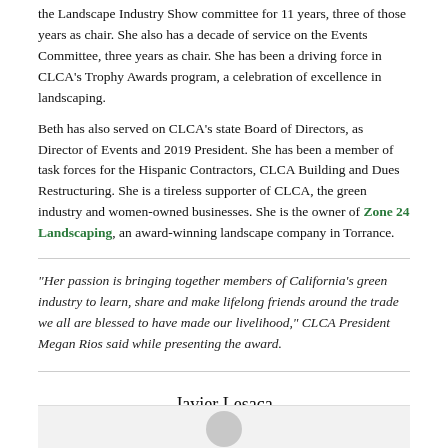the Landscape Industry Show committee for 11 years, three of those years as chair. She also has a decade of service on the Events Committee, three years as chair. She has been a driving force in CLCA's Trophy Awards program, a celebration of excellence in landscaping.
Beth has also served on CLCA's state Board of Directors, as Director of Events and 2019 President. She has been a member of task forces for the Hispanic Contractors, CLCA Building and Dues Restructuring. She is a tireless supporter of CLCA, the green industry and women-owned businesses. She is the owner of Zone 24 Landscaping, an award-winning landscape company in Torrance.
"Her passion is bringing together members of California's green industry to learn, share and make lifelong friends around the trade we all are blessed to have made our livelihood," CLCA President Megan Rios said while presenting the award.
Javier Lesaca
[Figure (photo): Partial view of a person's photo, cropped at bottom of page]